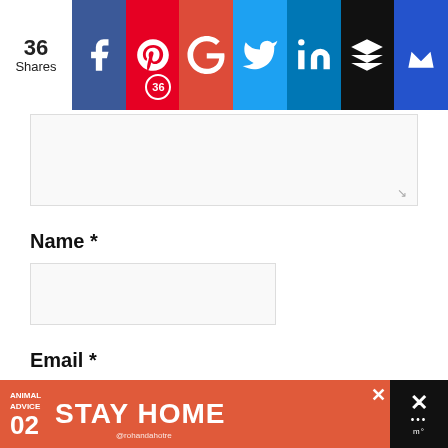[Figure (screenshot): Social share bar with 36 Shares count and icons for Facebook, Pinterest (36), Google+, Twitter, LinkedIn, Buffer, Crowdfire]
Name *
Email *
Website
[Figure (screenshot): Advertisement banner: Animal Advice 02 STAY HOME @rohandahotre with mushroom illustration and close button]